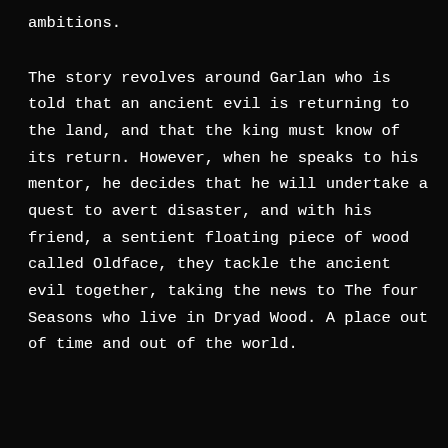ambitions.

The story revolves around Garlan who is told that an ancient evil is returning to the land, and that the king must know of its return. However, when he speaks to his mentor, he decides that he will undertake a quest to avert disaster, and with his friend, a sentient floating piece of wood called Oldface, they tackle the ancient evil together, taking the news to The four Seasons who live in Dryad Wood. A place out of time and out of the world.